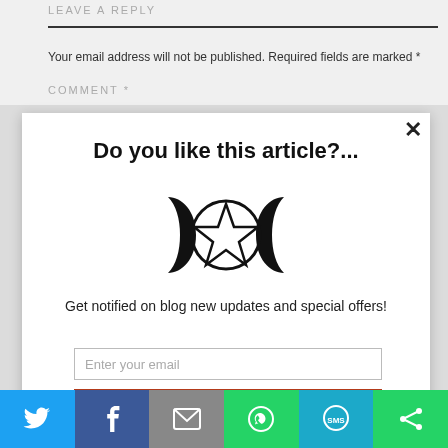LEAVE A REPLY
Your email address will not be published. Required fields are marked *
COMMENT *
Do you like this article?...
[Figure (illustration): Triple moon / pentacle Wiccan symbol — two crescent moons flanking a circle with a five-pointed star (pentagram) inside]
Get notified on blog new updates and special offers!
Enter your email
Subscribe Now!
[Figure (infographic): Social sharing bar with Twitter, Facebook, Email, WhatsApp, SMS, and a share icon]